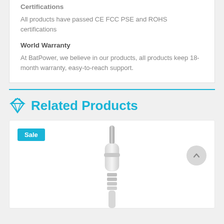Certifications
All products have passed CE FCC PSE and ROHS certifications
World Warranty
At BatPower, we believe in our products, all products keep 18-month warranty, easy-to-reach support.
Related Products
[Figure (photo): Product card showing a white DC barrel connector/plug on a white background, with a blue 'Sale' badge in the top-left and a circular back-to-top arrow button on the right.]